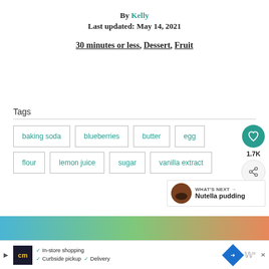By Kelly
Last updated: May 14, 2021
30 minutes or less, Dessert, Fruit
Tags
baking soda
blueberries
butter
egg
flour
lemon juice
sugar
vanilla extract
1.7K
WHAT'S NEXT → Nutella pudding
[Figure (photo): Food image at bottom of page]
In-store shopping  Curbside pickup  Delivery